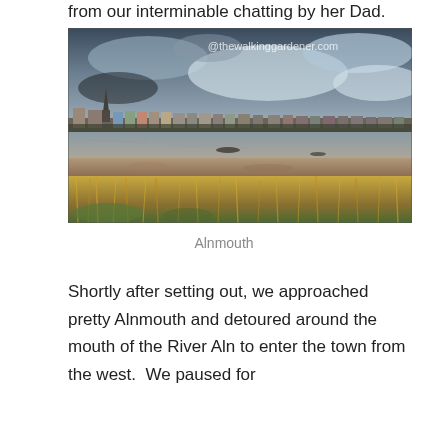from our interminable chatting by her Dad.
[Figure (photo): Landscape photograph of Alnmouth, showing a coastal estuary scene with reed grasses in the foreground, a tidal river/mudflats in the middle, and a row of colourful Victorian buildings with a church spire on the skyline under a dramatic cloudy sky. Watermark '@thewalkinggardener.com' visible in upper right.]
Alnmouth
Shortly after setting out, we approached pretty Alnmouth and detoured around the mouth of the River Aln to enter the town from the west.  We paused for